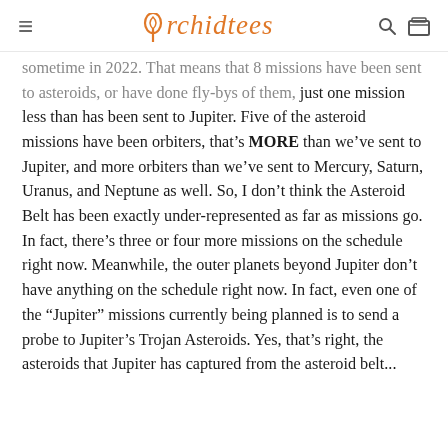Orchidtees
sometime in 2022. That means that 8 missions have been sent to asteroids, or have done fly-bys of them, just one mission less than has been sent to Jupiter. Five of the asteroid missions have been orbiters, that's MORE than we've sent to Jupiter, and more orbiters than we've sent to Mercury, Saturn, Uranus, and Neptune as well. So, I don't think the Asteroid Belt has been exactly under-represented as far as missions go. In fact, there's three or four more missions on the schedule right now. Meanwhile, the outer planets beyond Jupiter don't have anything on the schedule right now. In fact, even one of the "Jupiter" missions currently being planned is to send a probe to Jupiter's Trojan Asteroids. Yes, that's right, the asteroids that Jupiter has captured from the asteroid belt...